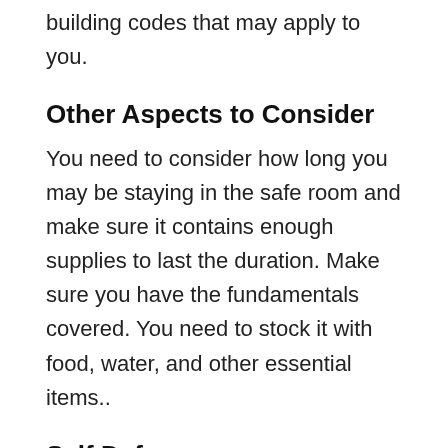building codes that may apply to you.
Other Aspects to Consider
You need to consider how long you may be staying in the safe room and make sure it contains enough supplies to last the duration. Make sure you have the fundamentals covered. You need to stock it with food, water, and other essential items..
Self Defense
Self-defense is also essential. So be sure to keep a rifle, handgun ammo in your safe room.